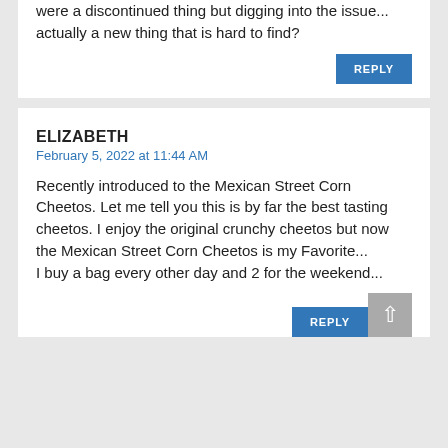were a discontinued thing but digging into the issue... actually a new thing that is hard to find?
REPLY
ELIZABETH
February 5, 2022 at 11:44 AM
Recently introduced to the Mexican Street Corn Cheetos. Let me tell you this is by far the best tasting cheetos. I enjoy the original crunchy cheetos but now the Mexican Street Corn Cheetos is my Favorite... I buy a bag every other day and 2 for the weekend...
REPLY